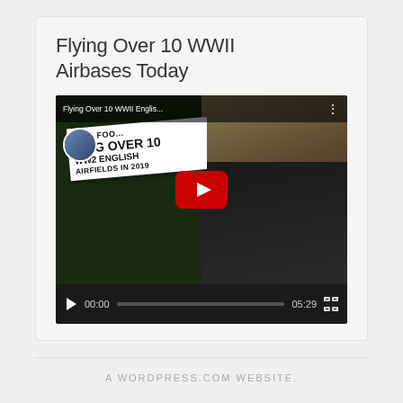Flying Over 10 WWII Airbases Today
[Figure (screenshot): YouTube video player showing 'Flying Over 10 WWII Englis...' with play button overlay. Video thumbnail shows video title overlay text 'FLYING OVER 10 WW2 ENGLISH AIRFIELDS IN 2019' on left and cockpit view on right. Controls bar shows 00:00 / 05:29 timestamps.]
A WORDPRESS.COM WEBSITE.